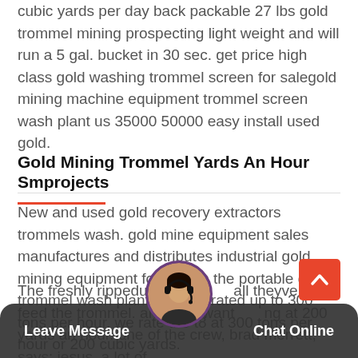cubic yards per day back packable 27 lbs gold trommel mining prospecting light weight and will run a 5 gal. bucket in 30 sec. get price high class gold washing trommel screen for salegold mining machine equipment trommel screen wash plant us 35000 50000 easy install used gold.
Gold Mining Trommel Yards An Hour Smprojects
New and used gold recovery extractors trommels wash. gold mine equipment sales manufactures and distributes industrial gold mining equipment for micron the portable gold trommel wash plant the t8 is rated up to 300 tons per hour. we rate the t8 at 300 tons per hour or 200 cubic yards.
The freshly rippedup pay... all theyve got to feed the trommel. and tony want...ng at 200 yards an hour. one of the crew, brad merrett, says: jesus, a lot of